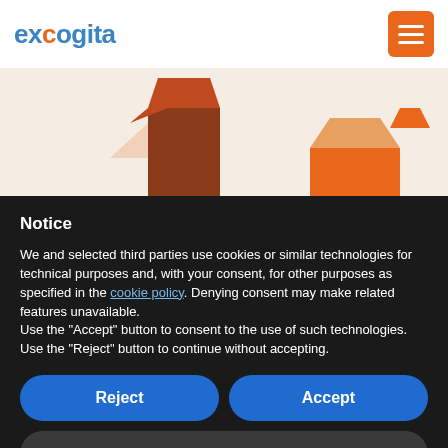excogita — navigation header with hamburger menu
[Figure (illustration): Partial view of an illustration showing orange/rust colored geometric shapes resembling figures or buildings on a light beige background, partially obscured by the cookie consent overlay.]
Notice
We and selected third parties use cookies or similar technologies for technical purposes and, with your consent, for other purposes as specified in the cookie policy. Denying consent may make related features unavailable.
Use the “Accept” button to consent to the use of such technologies. Use the “Reject” button to continue without accepting.
Reject
Accept
Learn more and customise